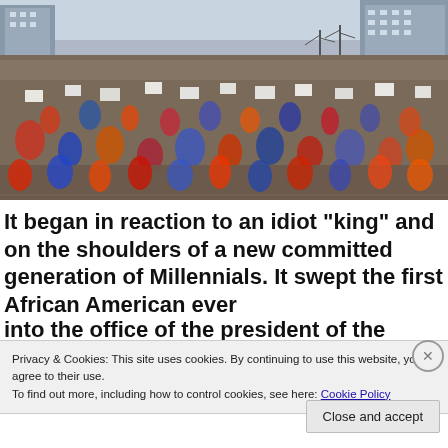[Figure (photo): Aerial view of a large crowd of protesters filling a city street, holding signs, with buildings visible in the background. Winter scene with bare trees.]
It began in reaction to an idiot “king” and on the shoulders of a new committed generation of Millennials. It swept the first African American ever into the office of the president of the United State
Privacy & Cookies: This site uses cookies. By continuing to use this website, you agree to their use.
To find out more, including how to control cookies, see here: Cookie Policy
Close and accept